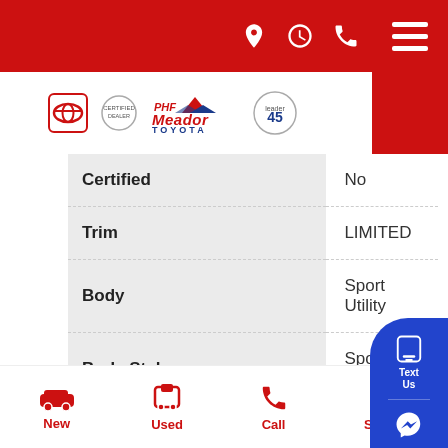Meador Toyota dealership website header with navigation icons
[Figure (logo): Meador Toyota logo with Toyota emblem, certified emblem, Meador Toyota wordmark with mountain graphic, and 45th anniversary badge]
| Field | Value |
| --- | --- |
| Certified | No |
| Trim | LIMITED |
| Body | Sport Utility |
| Body Style | Sport Utility |
| Transmission | Automatic |
| Transmission | Automatic |
[Figure (infographic): Blue floating action pill with Text Us (phone icon), Messenger icon, Call icon, and Trade-in label]
New | Used | Call | Service